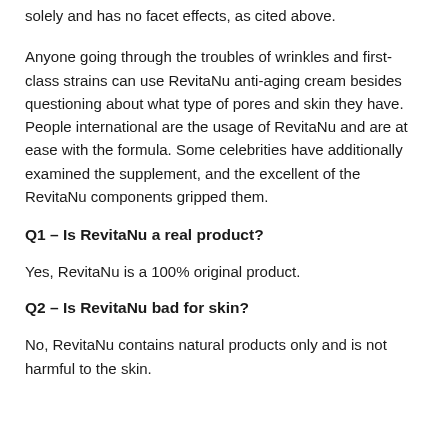solely and has no facet effects, as cited above.
Anyone going through the troubles of wrinkles and first-class strains can use RevitaNu anti-aging cream besides questioning about what type of pores and skin they have. People international are the usage of RevitaNu and are at ease with the formula. Some celebrities have additionally examined the supplement, and the excellent of the RevitaNu components gripped them.
Q1 – Is RevitaNu a real product?
Yes, RevitaNu is a 100% original product.
Q2 – Is RevitaNu bad for skin?
No, RevitaNu contains natural products only and is not harmful to the skin.